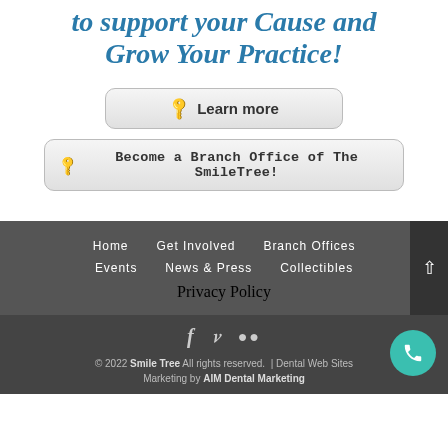to support your Cause and Grow Your Practice!
Learn more
Become a Branch Office of The SmileTree!
Home   Get Involved   Branch Offices   Events   News & Press   Collectibles   Privacy Policy
© 2022 Smile Tree All rights reserved. | Dental Web Sites Marketing by AIM Dental Marketing